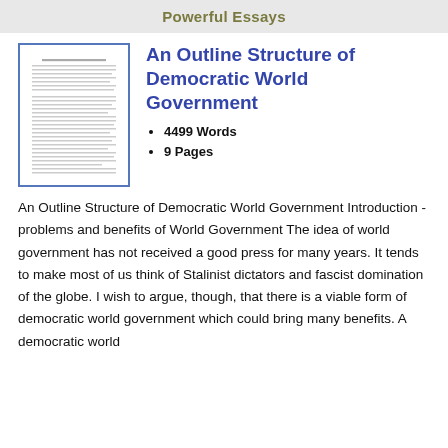Powerful Essays
An Outline Structure of Democratic World Government
4499 Words
9 Pages
[Figure (illustration): Thumbnail preview of the essay document showing dense text lines on a white page with a blue border]
An Outline Structure of Democratic World Government Introduction - problems and benefits of World Government The idea of world government has not received a good press for many years. It tends to make most of us think of Stalinist dictators and fascist domination of the globe. I wish to argue, though, that there is a viable form of democratic world government which could bring many benefits. A democratic world